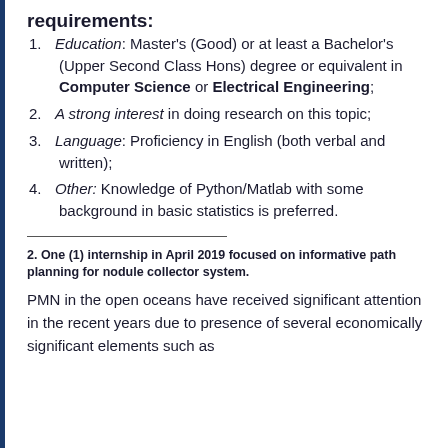requirements:
Education: Master's (Good) or at least a Bachelor's (Upper Second Class Hons) degree or equivalent in Computer Science or Electrical Engineering;
A strong interest in doing research on this topic;
Language: Proficiency in English (both verbal and written);
Other: Knowledge of Python/Matlab with some background in basic statistics is preferred.
2. One (1) internship in April 2019 focused on informative path planning for nodule collector system.
PMN in the open oceans have received significant attention in the recent years due to presence of several economically significant elements such as